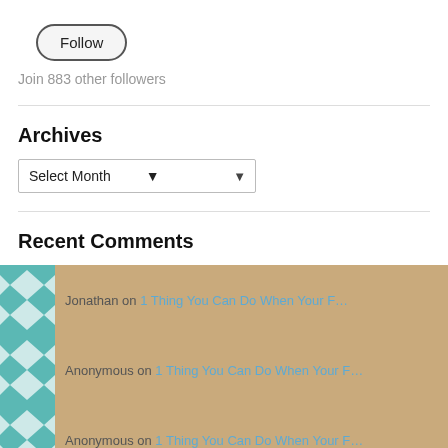[Figure (other): Follow button - rounded pill-shaped button with text 'Follow']
Join 883 other followers
Archives
[Figure (other): Dropdown select box labeled 'Select Month' with arrow]
Recent Comments
Jonathan on 1 Thing You Can Do When Your F…
Anonymous on 1 Thing You Can Do When Your F…
Anonymous on 1 Thing You Can Do When Your F…